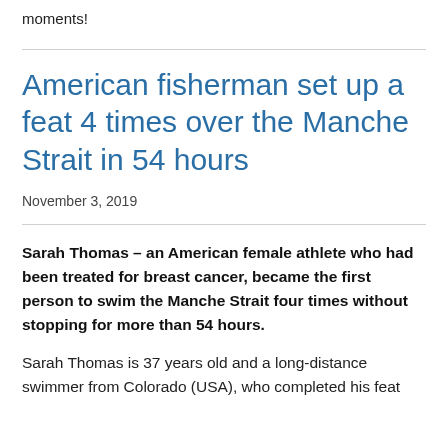moments!
American fisherman set up a feat 4 times over the Manche Strait in 54 hours
November 3, 2019
Sarah Thomas – an American female athlete who had been treated for breast cancer, became the first person to swim the Manche Strait four times without stopping for more than 54 hours.
Sarah Thomas is 37 years old and a long-distance swimmer from Colorado (USA), who completed his feat